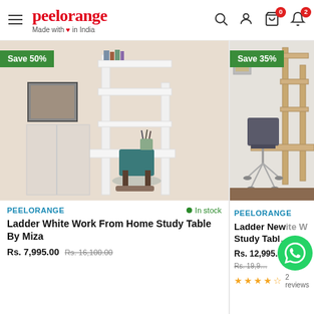peelorange — Made with love in India
[Figure (screenshot): Product card for Ladder White Work From Home Study Table By Miza, showing white ladder shelf desk with teal chair. Save 50% badge. Brand: PEELORANGE. In stock. Rs. 7,995.00 (original Rs. 16,100.00)]
[Figure (screenshot): Product card for Ladder New White Work From Home Study Table By Miza, showing natural wood ladder shelf desk with grey office chair. Save 35% badge. Brand: PEELORANGE. Rs. 12,995.00 (original Rs. 19,9...). 2 reviews.]